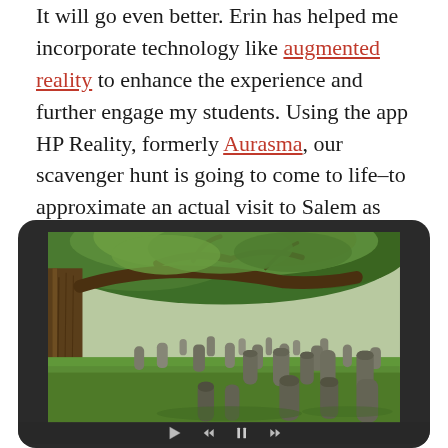It will go even better. Erin has helped me incorporate technology like augmented reality to enhance the experience and further engage my students. Using the app HP Reality, formerly Aurasma, our scavenger hunt is going to come to life–to approximate an actual visit to Salem as closely as possible.
[Figure (photo): A tablet device displaying a photograph of a historic cemetery with old gravestones, large trees with spreading branches, and green grass. Video playback controls are visible at the bottom of the tablet screen.]